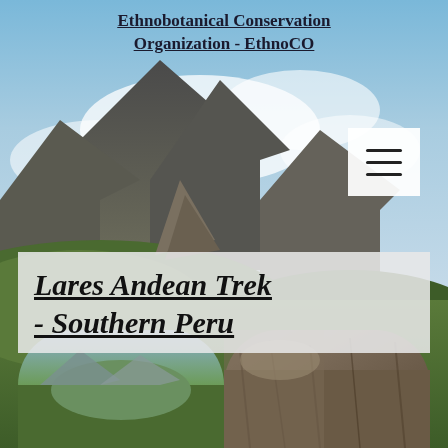Ethnobotanical Conservation Organization - EthnoCO
[Figure (photo): Mountain landscape with rocky peaks, clouds, and blue sky — Andean scene in southern Peru]
Lares Andean Trek - Southern Peru
[Figure (photo): Two photos side by side at bottom: left shows a mountain valley with green slopes, right shows a close-up of a large rock formation or stone ruins]